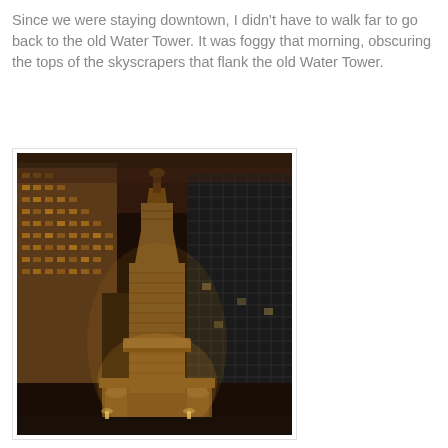Since we were staying downtown, I didn't have to walk far to go back to the old Water Tower. It was foggy that morning, obscuring the tops of the skyscrapers that flank the old Water Tower.
[Figure (photo): Nighttime photograph looking up at the historic Chicago Water Tower, illuminated with warm lights, flanked by modern skyscrapers on a foggy night. The tall stone gothic tower is lit from below, with tall modern buildings on both sides fading into fog at the top.]